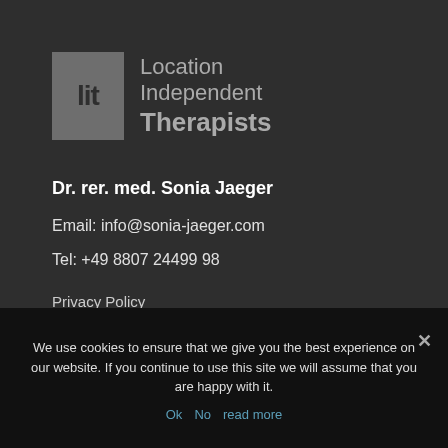[Figure (logo): Location Independent Therapists logo with 'lit' text in a grey box and the full name beside it]
Dr. rer. med. Sonia Jaeger
Email: info@sonia-jaeger.com
Tel: +49 8807 24499 98
Privacy Policy
We use cookies to ensure that we give you the best experience on our website. If you continue to use this site we will assume that you are happy with it.
Ok  No  read more